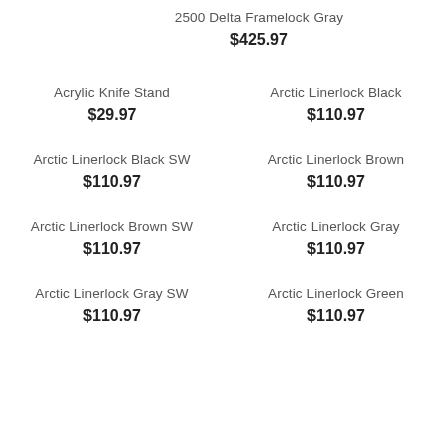2500 Delta Framelock Gray
$425.97
Acrylic Knife Stand
$29.97
Arctic Linerlock Black
$110.97
Arctic Linerlock Black SW
$110.97
Arctic Linerlock Brown
$110.97
Arctic Linerlock Brown SW
$110.97
Arctic Linerlock Gray
$110.97
Arctic Linerlock Gray SW
$110.97
Arctic Linerlock Green
$110.97